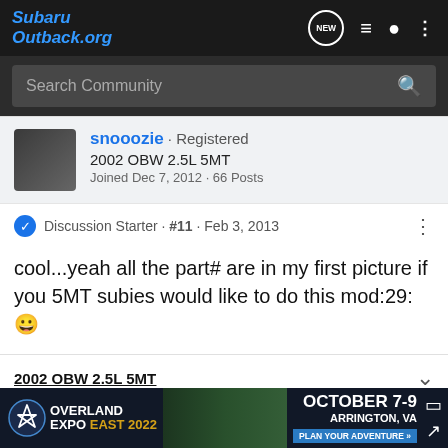SubaruOutback.org
Search Community
snooozie · Registered
2002 OBW 2.5L 5MT
Joined Dec 7, 2012 · 66 Posts
Discussion Starter · #11 · Feb 3, 2013
cool...yeah all the part# are in my first picture if you 5MT subies would like to do this mod:29:😀
2002 OBW 2.5L 5MT
Current mods: Custom Bull Bar, plastic tube air intake on the side,
[Figure (screenshot): Overland Expo East 2022 advertisement banner showing October 7-9, Arrington, VA, Plan Your Adventure]